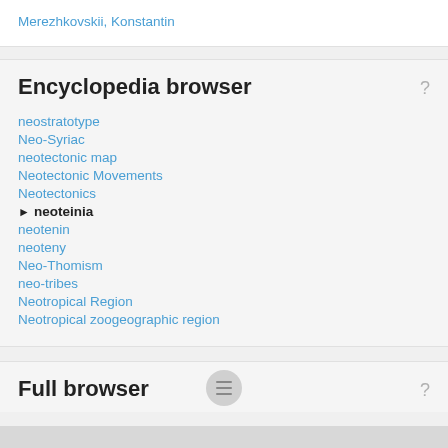Merezhkovskii, Konstantin
Encyclopedia browser
neostratotype
Neo-Syriac
neotectonic map
Neotectonic Movements
Neotectonics
neoteinia
neotenin
neoteny
Neo-Thomism
neo-tribes
Neotropical Region
Neotropical zoogeographic region
Full browser